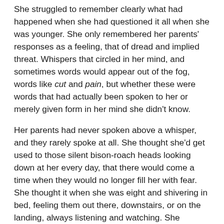She struggled to remember clearly what had happened when she had questioned it all when she was younger. She only remembered her parents' responses as a feeling, that of dread and implied threat. Whispers that circled in her mind, and sometimes words would appear out of the fog, words like cut and pain, but whether these were words that had actually been spoken to her or merely given form in her mind she didn't know.
Her parents had never spoken above a whisper, and they rarely spoke at all. She thought she'd get used to those silent bison-roach heads looking down at her every day, that there would come a time when they would no longer fill her with fear. She thought it when she was eight and shivering in bed, feeling them out there, downstairs, or on the landing, always listening and watching. She thought it last year, sitting at the dinner table and hearing her father's head whisper – the only thing said all meal – that she was a good girl.